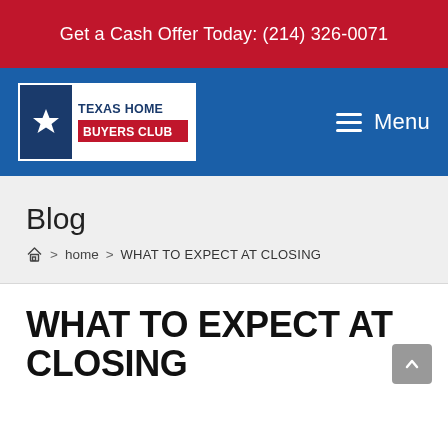Get a Cash Offer Today: (214) 326-0071
[Figure (logo): Texas Home Buyers Club logo — blue box with star on left, white box with blue 'TEXAS HOME' text and red 'BUYERS CLUB' background on right, displayed in blue navigation bar with hamburger Menu button on right]
Blog
home > WHAT TO EXPECT AT CLOSING
WHAT TO EXPECT AT CLOSING